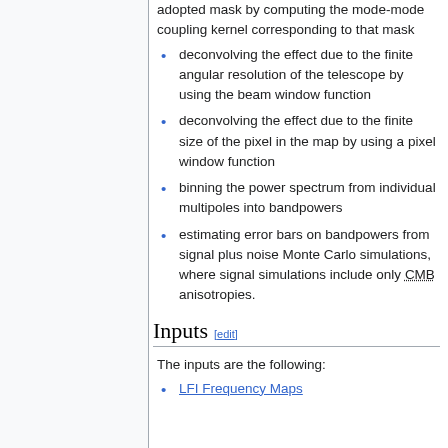adopted mask by computing the mode-mode coupling kernel corresponding to that mask
deconvolving the effect due to the finite angular resolution of the telescope by using the beam window function
deconvolving the effect due to the finite size of the pixel in the map by using a pixel window function
binning the power spectrum from individual multipoles into bandpowers
estimating error bars on bandpowers from signal plus noise Monte Carlo simulations, where signal simulations include only CMB anisotropies.
Inputs [edit]
The inputs are the following:
LFI Frequency Maps